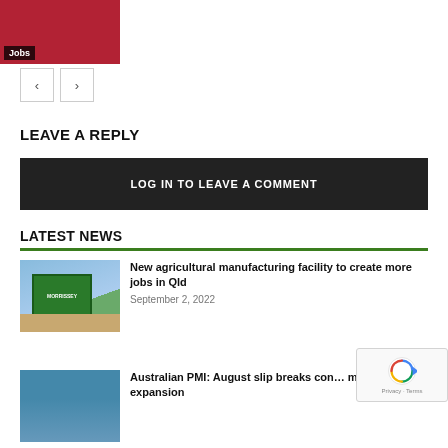[Figure (photo): Red thumbnail image with 'Jobs' label]
[Figure (other): Navigation previous and next arrow buttons]
LEAVE A REPLY
LOG IN TO LEAVE A COMMENT
LATEST NEWS
[Figure (photo): Morrissey agricultural facility exterior photo]
New agricultural manufacturing facility to create more jobs in Qld
September 2, 2022
[Figure (photo): Australian PMI manufacturing facility interior photo]
Australian PMI: August slip breaks con… manufacturing expansion